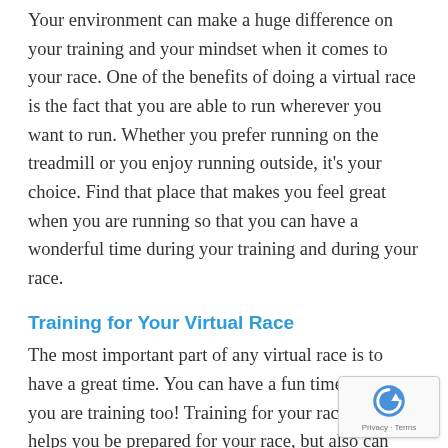Your environment can make a huge difference on your training and your mindset when it comes to your race. One of the benefits of doing a virtual race is the fact that you are able to run wherever you want to run. Whether you prefer running on the treadmill or you enjoy running outside, it's your choice. Find that place that makes you feel great when you are running so that you can have a wonderful time during your training and during your race.
Training for Your Virtual Race
The most important part of any virtual race is to have a great time. You can have a fun time while you are training too! Training for your race not only helps you be prepared for your race, but also can make you more excited for race day. W... want to make sure that you truly treasure that